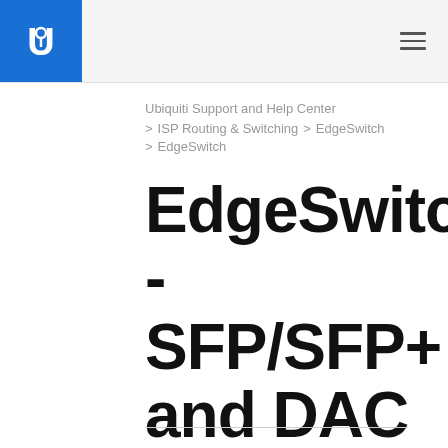Ubiquiti logo and navigation header
Ubiquiti Support and Help Center
> ISP Routing & Switching > EdgeSwitch
> EdgeSwitch
EdgeSwitch - SFP/SFP+ and DAC Compatibility List